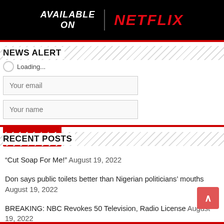[Figure (logo): Available on Netflix banner with white bold italic text 'AVAILABLE ON' on black background and red Netflix logo]
NEWS ALERT
Loading...
Your email
Your name
Subscribe
RECENT POSTS
“Cut Soap For Me!” August 19, 2022
Don says public toilets better than Nigerian politicians’ mouths August 19, 2022
BREAKING: NBC Revokes 50 Television, Radio License August 19, 2022